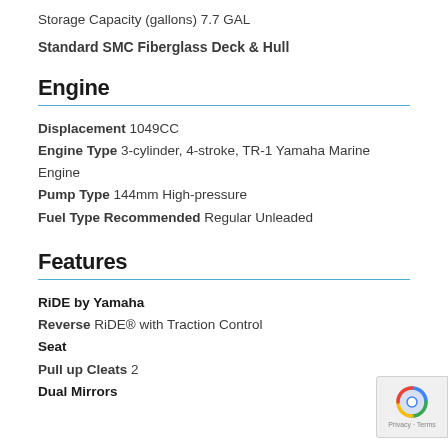Storage Capacity (gallons) 7.7 GAL
Standard SMC Fiberglass Deck & Hull
Engine
Displacement 1049CC
Engine Type 3-cylinder, 4-stroke, TR-1 Yamaha Marine Engine
Pump Type 144mm High-pressure
Fuel Type Recommended Regular Unleaded
Features
RiDE by Yamaha
Reverse RiDE® with Traction Control
Seat
Pull up Cleats 2
Dual Mirrors